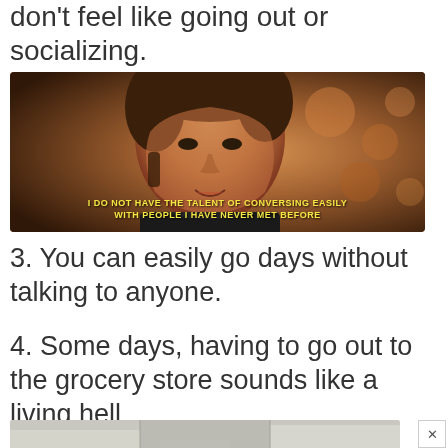don't feel like going out or socializing.
[Figure (photo): Close-up of a young man's face with warm bokeh background, subtitle text: I DO NOT HAVE THE TALENT OF CONVERSING EASILY WITH PEOPLE I HAVE NEVER MET BEFORE]
3. You can easily go days without talking to anyone.
4. Some days, having to go out to the grocery store sounds like a living hell.
[Figure (photo): Partial view of a grocery store interior, cropped at bottom of page]